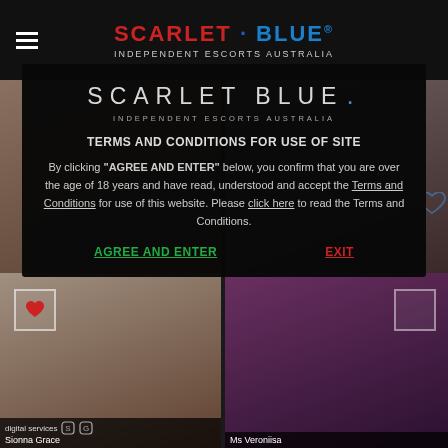SCARLET·BLUE® INDEPENDENT ESCORTS AUSTRALIA
[Figure (screenshot): Background escort profile photos behind modal dialog]
SCARLET BLUE . INDEPENDENT ESCORTS AUSTRALIA
TERMS AND CONDITIONS FOR USE OF SITE
By clicking "AGREE AND ENTER" below, you confirm that you are over the age of 18 years and have read, understood and accept the Terms and Conditions for use of this website. Please click here to read the Terms and Conditions.
AGREE AND ENTER
EXIT